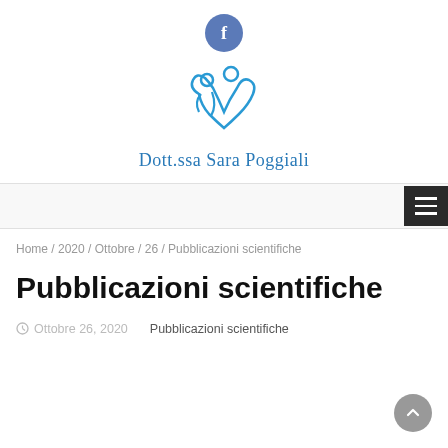[Figure (logo): Facebook icon circle (blue) and Dott.ssa Sara Poggiali logo with stylized figures and name in blue]
Home / 2020 / Ottobre / 26 / Pubblicazioni scientifiche
Pubblicazioni scientifiche
Ottobre 26, 2020    Pubblicazioni scientifiche